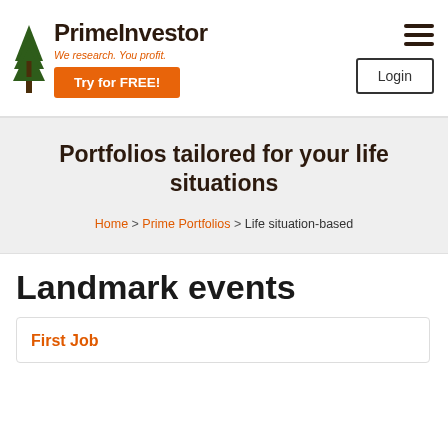PrimeInvestor — We research. You profit.
Portfolios tailored for your life situations
Home > Prime Portfolios > Life situation-based
Landmark events
First Job